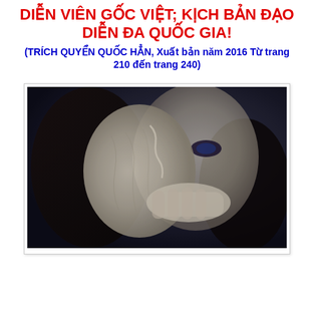DIỄN VIÊN GỐC VIỆT; KỊCH BẢN ĐẠO DIỄN ĐA QUỐC GIA!
(TRÍCH QUYỂN QUỐC HẲN, Xuất bản năm 2016 Từ trang 210 đến trang 240)
[Figure (photo): A dark artistic photo of a woman's face partially obscured by a mask or peeling face being held up by a hand, dark background with long dark hair, dramatic lighting]